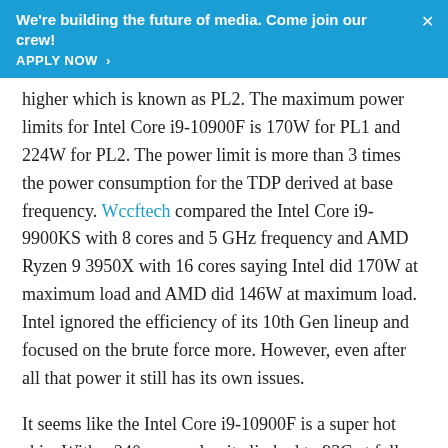We're building the future of media. Come join our crew! APPLY NOW >
higher which is known as PL2. The maximum power limits for Intel Core i9-10900F is 170W for PL1 and 224W for PL2. The power limit is more than 3 times the power consumption for the TDP derived at base frequency. Wccftech compared the Intel Core i9-9900KS with 8 cores and 5 GHz frequency and AMD Ryzen 9 3950X with 16 cores saying Intel did 170W at maximum load and AMD did 146W at maximum load. Intel ignored the efficiency of its 10th Gen lineup and focused on the brute force more. However, even after all that power it still has its own issues.
It seems like the Intel Core i9-10900F is a super hot chip. With a 240mm cooler, it climbed to 93C at full load and stayed around 70-75C on average. The processor reported a temperature of up to 83C with a 120mm AIO cooler with the 170W FPU test. On the other hand, it reported a